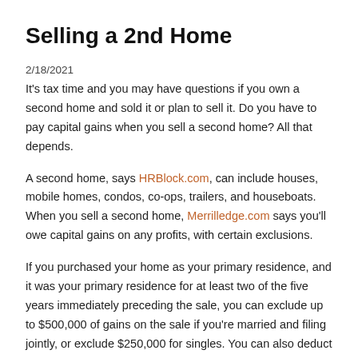Selling a 2nd Home
2/18/2021
It’s tax time and you may have questions if you own a second home and sold it or plan to sell it. Do you have to pay capital gains when you sell a second home? All that depends.
A second home, says HRBlock.com, can include houses, mobile homes, condos, co-ops, trailers, and houseboats. When you sell a second home, Merrilledge.com says you’ll owe capital gains on any profits, with certain exclusions.
If you purchased your home as your primary residence, and it was your primary residence for at least two of the five years immediately preceding the sale, you can exclude up to $500,000 of gains on the sale if you're married and filing jointly, or exclude $250,000 for singles. You can also deduct